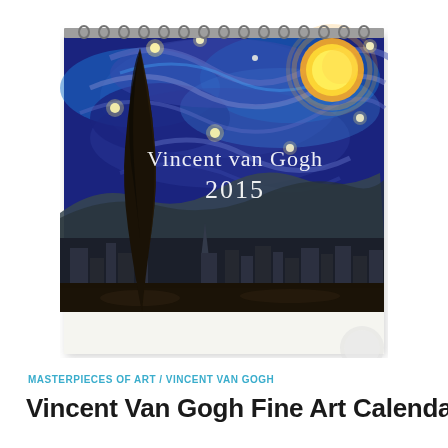[Figure (illustration): A wall calendar featuring Van Gogh's 'The Starry Night' painting on the cover. The calendar has a spiral wire binding at the top. The painting shows a swirling night sky with stars, a crescent moon, a cypress tree, and a village below. The text 'Vincent van Gogh' and '2015' appear in white over the painting. A small circular watermark/logo appears in the bottom-right of the calendar image area.]
MASTERPIECES OF ART / VINCENT VAN GOGH
Vincent Van Gogh Fine Art Calendar